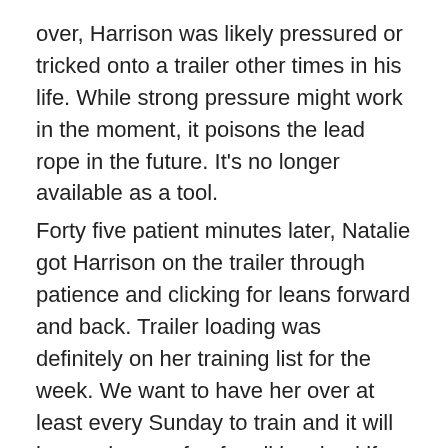over, Harrison was likely pressured or tricked onto a trailer other times in his life. While strong pressure might work in the moment, it poisons the lead rope in the future. It's no longer available as a tool.
Forty five patient minutes later, Natalie got Harrison on the trailer through patience and clicking for leans forward and back. Trailer loading was definitely on her training list for the week. We want to have her over at least every Sunday to train and it will be much more fun for all involved if her horse loads calmly and easily. Luckily, Natalie had already taught Harrison an exercise that contained the component parts needed for trailer loading. So once she got home, she planned out a new exercise to combine the skills he already had with the presence of the trailer to create great trailer loading.
Last year Natalie had worked with Harrison so that she